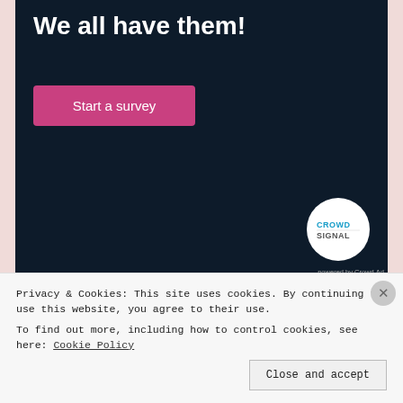[Figure (illustration): Dark navy advertisement banner with bold white text 'We all have them!' and a pink/magenta 'Start a survey' button, plus a circular Crowdsignal logo on the bottom right.]
Share this:
[Figure (infographic): Three circular social share buttons: Twitter (light blue), Facebook (blue), LinkedIn (dark blue)]
Privacy & Cookies: This site uses cookies. By continuing to use this website, you agree to their use.
To find out more, including how to control cookies, see here: Cookie Policy
Close and accept